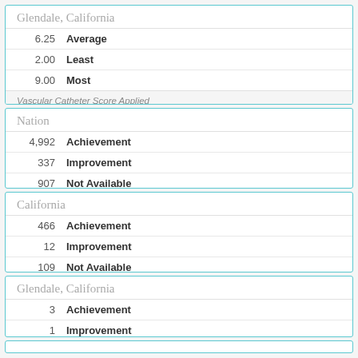| Value | Label |
| --- | --- |
| 6.25 | Average |
| 2.00 | Least |
| 9.00 | Most |
Vascular Catheter Score Applied
Nation
| Count | Category |
| --- | --- |
| 4,992 | Achievement |
| 337 | Improvement |
| 907 | Not Available |
California
| Count | Category |
| --- | --- |
| 466 | Achievement |
| 12 | Improvement |
| 109 | Not Available |
Glendale, California
| Count | Category |
| --- | --- |
| 3 | Achievement |
| 1 | Improvement |